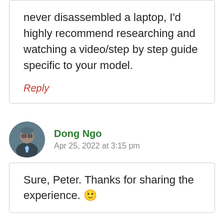never disassembled a laptop, I'd highly recommend researching and watching a video/step by step guide specific to your model.
Reply
Dong Ngo
Apr 25, 2022 at 3:15 pm
Sure, Peter. Thanks for sharing the experience. 🙂